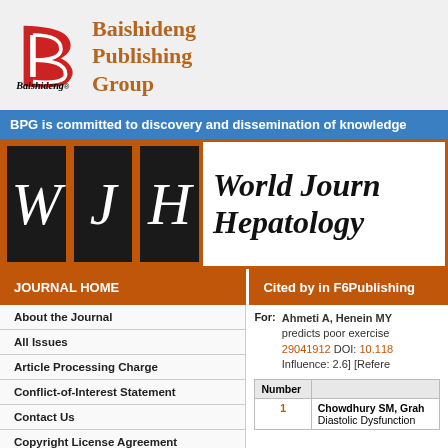[Figure (logo): Baishideng Publishing Group logo with red stylized B icon and italic Baishideng text below]
Baishideng Publishing Group
BPG is committed to discovery and dissemination of knowledge
[Figure (logo): World Journal of Hepatology banner with WJH letters in dark boxes on orange background]
JOURNAL HOME
Cited by in F6Publishing
About the Journal
All Issues
Article Processing Charge
Conflict-of-Interest Statement
Contact Us
Copyright License Agreement
For: Ahmeti A, Henein MY predicts poor exercise 29041912 DOI: 10.118 Influence: 2.6] [Refere
| Number |  |
| --- | --- |
| 1 | Chowdhury SM, Grah Diastolic Dysfunction |